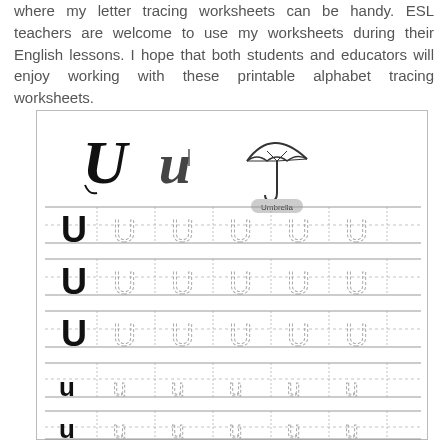where my letter tracing worksheets can be handy. ESL teachers are welcome to use my worksheets during their English lessons. I hope that both students and educators will enjoy working with these printable alphabet tracing worksheets.
[Figure (illustration): Letter U tracing worksheet showing uppercase U and lowercase u with an umbrella illustration, followed by five lined rows with dashed guide lines containing traced and dotted U/u letters for handwriting practice.]